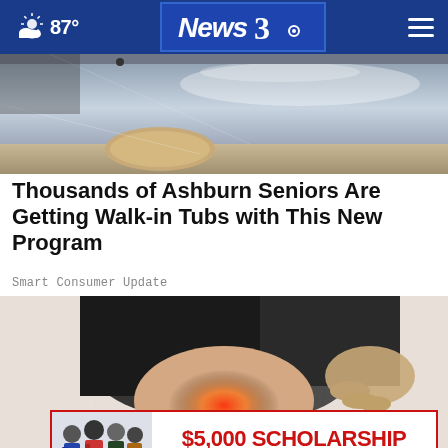87° News3. (navigation bar with weather and logo)
[Figure (photo): Close-up photo of a walk-in tub interior showing shiny metal/acrylic surface]
Thousands of Ashburn Seniors Are Getting Walk-in Tubs with This New Program
Smart Consumer Update
[Figure (photo): Person holding or touching a knee with red pain highlight overlay, circular ripple effect]
[Figure (infographic): $5,000 SCHOLARSHIP — APPLY NOW advertisement banner with students photo on left]